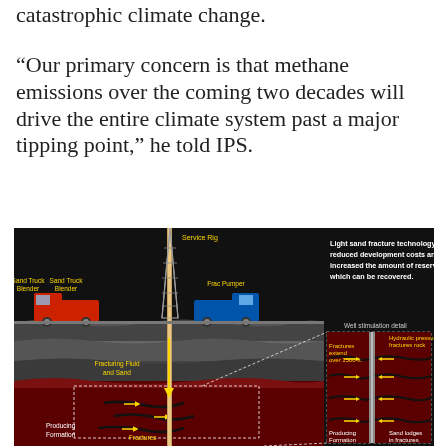catastrophic climate change.
“Our primary concern is that methane emissions over the coming two decades will drive the entire climate system past a major tipping point,” he told IPS.
[Figure (infographic): Diagram of hydraulic fracturing (fracking) showing surface equipment including a Service Rig, Sand Truck Blender (red), and Frac Pumper (blue), with underground cross-section showing Fracturing Fluid and Sand going down, Producing Formation at the bottom with Fractures. A 'Well stimulation detail' inset on the right shows Hydraulic pressure fractures rock, Fractures extend over 1500 ft., Producing Formation, and Sand lodges in fractures. Text overlay states: 'Light sand fracture technology has reduced development costs and increased the amount of reserves which can be recovered.']